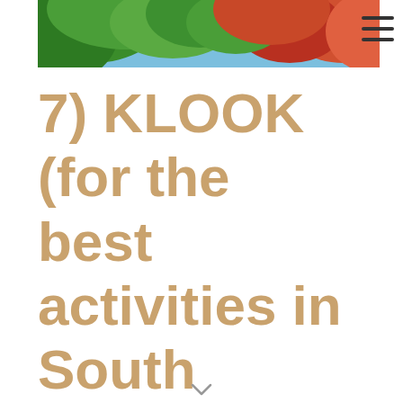[Figure (photo): A top-crop photo of tree canopy with green and orange/red autumn leaves against a blue sky background]
7) KLOOK (for the best activities in South Korea)